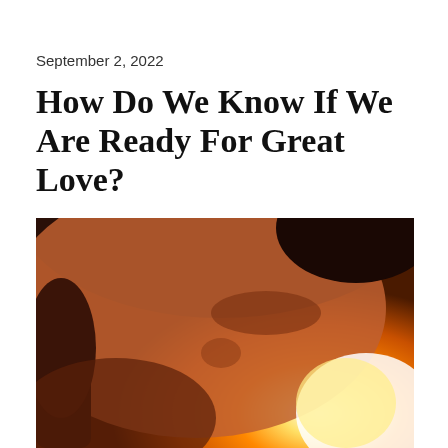September 2, 2022
How Do We Know If We Are Ready For Great Love?
[Figure (photo): Close-up photograph of a person's face tilted downward with a warm orange and white light glowing from below, evoking an intimate or romantic mood.]